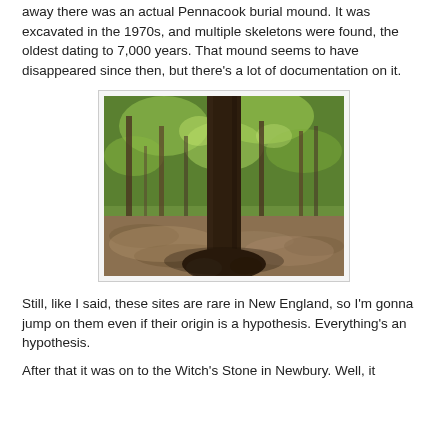away there was an actual Pennacook burial mound. It was excavated in the 1970s, and multiple skeletons were found, the oldest dating to 7,000 years. That mound seems to have disappeared since then, but there's a lot of documentation on it.
[Figure (photo): A forest scene showing a large tree trunk in the foreground with leafy green trees in the background and leaf-covered ground, likely showing a burial mound location.]
Still, like I said, these sites are rare in New England, so I'm gonna jump on them even if their origin is a hypothesis. Everything's an hypothesis.
After that it was on to the Witch's Stone in Newbury. Well, it